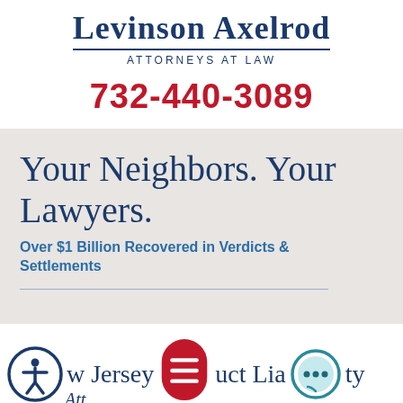Levinson Axelrod
ATTORNEYS AT LAW
732-440-3089
Your Neighbors. Your Lawyers.
Over $1 Billion Recovered in Verdicts & Settlements
New Jersey Product Liability Attorneys